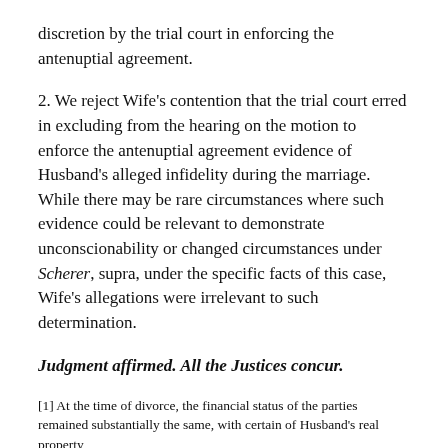discretion by the trial court in enforcing the antenuptial agreement.
2. We reject Wife's contention that the trial court erred in excluding from the hearing on the motion to enforce the antenuptial agreement evidence of Husband's alleged infidelity during the marriage. While there may be rare circumstances where such evidence could be relevant to demonstrate unconscionability or changed circumstances under Scherer, supra, under the specific facts of this case, Wife's allegations were irrelevant to such determination.
Judgment affirmed. All the Justices concur.
[1] At the time of divorce, the financial status of the parties remained substantially the same, with certain of Husband's real property